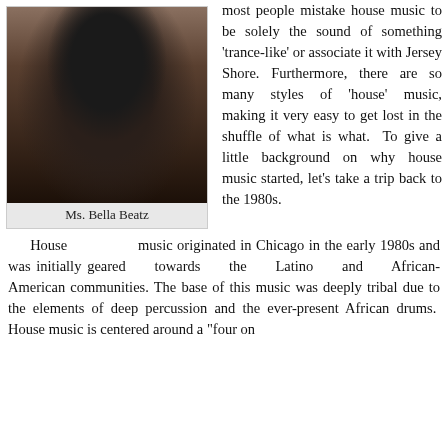[Figure (photo): Photo of Ms. Bella Beatz, a young woman with long dark hair wearing a black top and light cardigan, posed indoors.]
Ms. Bella Beatz
most people mistake house music to be solely the sound of something 'trance-like' or associate it with Jersey Shore. Furthermore, there are so many styles of 'house' music, making it very easy to get lost in the shuffle of what is what. To give a little background on why house music started, let's take a trip back to the 1980s.
House music originated in Chicago in the early 1980s and was initially geared towards the Latino and African-American communities. The base of this music was deeply tribal due to the elements of deep percussion and the ever-present African drums. House music is centered around a "four on